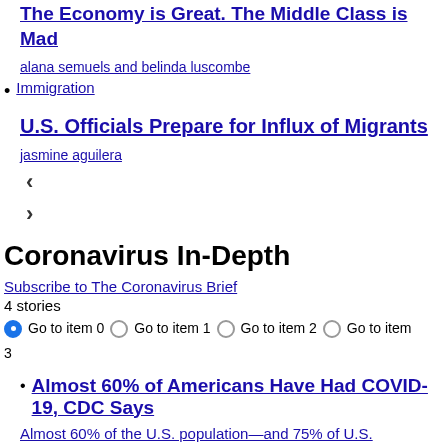The Economy is Great. The Middle Class is Mad
alana semuels and belinda luscombe
Immigration
U.S. Officials Prepare for Influx of Migrants
jasmine aguilera
< >
Coronavirus In-Depth
Subscribe to The Coronavirus Brief
4 stories
Go to item 0  Go to item 1  Go to item 2  Go to item 3
Almost 60% of Americans Have Had COVID-19, CDC Says
Almost 60% of the U.S. population—and 75% of U.S.